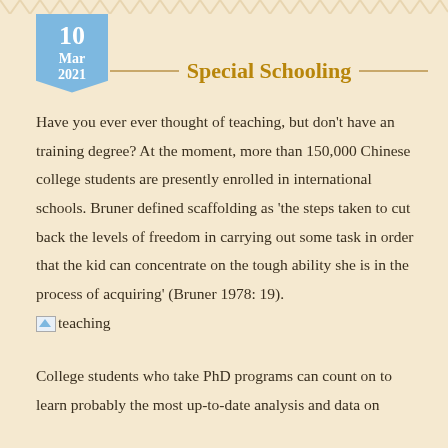[Figure (other): Date badge showing 10 Mar 2021 in blue ribbon/banner style]
Special Schooling
Have you ever ever thought of teaching, but don't have an training degree? At the moment, more than 150,000 Chinese college students are presently enrolled in international schools. Bruner defined scaffolding as 'the steps taken to cut back the levels of freedom in carrying out some task in order that the kid can concentrate on the tough ability she is in the process of acquiring' (Bruner 1978: 19).
[Figure (photo): Small broken image icon labeled 'teaching']
College students who take PhD programs can count on to learn probably the most up-to-date analysis and data on